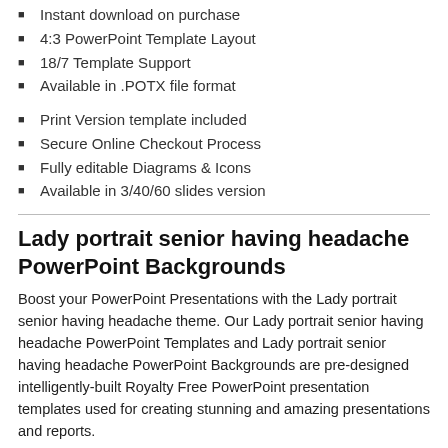Instant download on purchase
4:3 PowerPoint Template Layout
18/7 Template Support
Available in .POTX file format
Print Version template included
Secure Online Checkout Process
Fully editable Diagrams & Icons
Available in 3/40/60 slides version
Lady portrait senior having headache PowerPoint Backgrounds
Boost your PowerPoint Presentations with the Lady portrait senior having headache theme. Our Lady portrait senior having headache PowerPoint Templates and Lady portrait senior having headache PowerPoint Backgrounds are pre-designed intelligently-built Royalty Free PowerPoint presentation templates used for creating stunning and amazing presentations and reports.